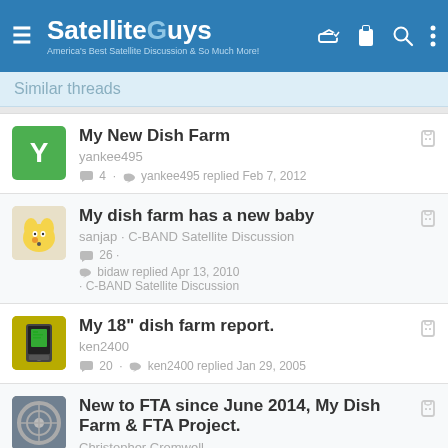SatelliteGuys — America's Best Satellite Discussion & So Much More!
Similar threads
My New Dish Farm — yankee495 — 4 replies — yankee495 replied Feb 7, 2012
My dish farm has a new baby — sanjap · C-BAND Satellite Discussion — 26 replies — bidaw replied Apr 13, 2010 · C-BAND Satellite Discussion
My 18" dish farm report. — ken2400 — 20 replies — ken2400 replied Jan 29, 2005
New to FTA since June 2014, My Dish Farm & FTA Project. — Christopher Cromwell